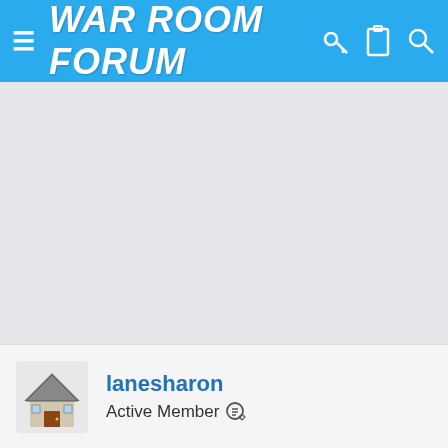WAR ROOM FORUM
[Figure (screenshot): Gray empty content area below the header]
lanesharon
Active Member